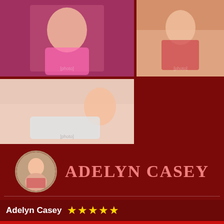[Figure (photo): Blonde woman in pink outfit, top-left photo]
[Figure (photo): Woman in red lingerie on bed, top-right photo]
[Figure (photo): Woman in white sports bra lying on bed, mid-left photo]
[Figure (photo): Small circular avatar portrait of Adelyn Casey]
Adelyn Casey
Adelyn Casey ★★★★★